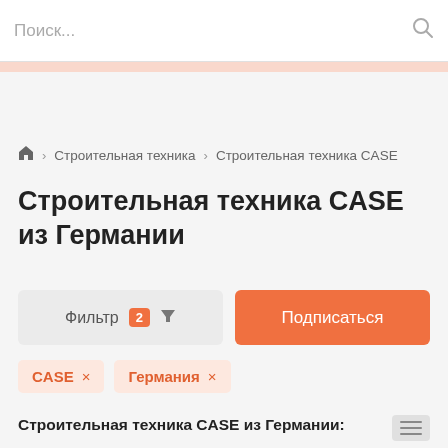Поиск...
Строительная техника > Строительная техника CASE
Строительная техника CASE из Германии
Фильтр 2 | Подписаться
CASE ×
Германия ×
Строительная техника CASE из Германии: